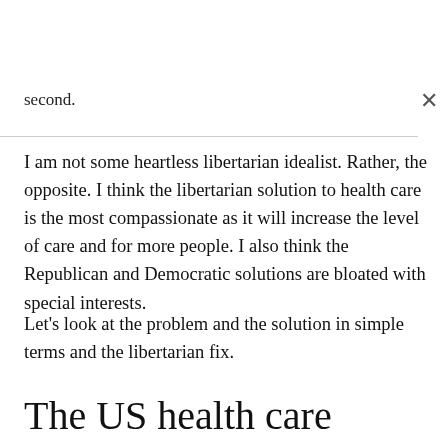second.
I am not some heartless libertarian idealist. Rather, the opposite. I think the libertarian solution to health care is the most compassionate as it will increase the level of care and for more people. I also think the Republican and Democratic solutions are bloated with special interests.
Let's look at the problem and the solution in simple terms and the libertarian fix.
The US health care